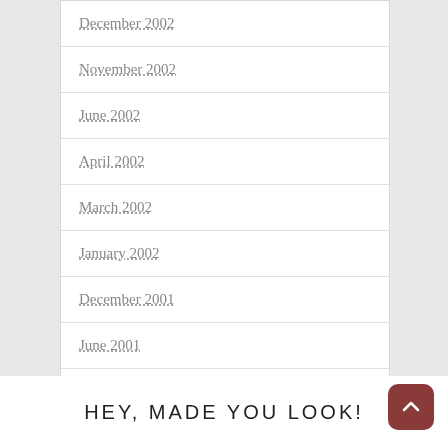December 2002
November 2002
June 2002
April 2002
March 2002
January 2002
December 2001
June 2001
January 2001
December 2000
HEY, MADE YOU LOOK!